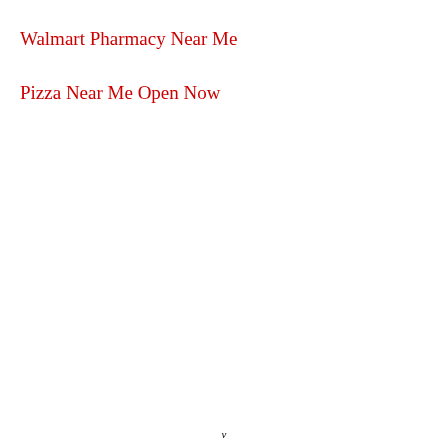Walmart Pharmacy Near Me
Pizza Near Me Open Now
v